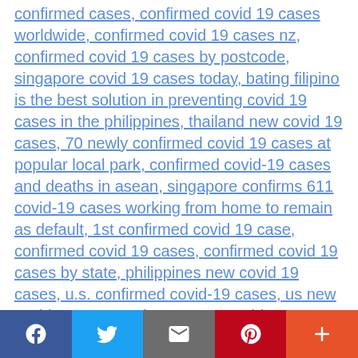confirmed cases, confirmed covid 19 cases worldwide, confirmed covid 19 cases nz, confirmed covid 19 cases by postcode, singapore covid 19 cases today, bating filipino is the best solution in preventing covid 19 cases in the philippines, thailand new covid 19 cases, 70 newly confirmed covid 19 cases at popular local park, confirmed covid-19 cases and deaths in asean, singapore confirms 611 covid-19 cases working from home to remain as default, 1st confirmed covid 19 case, confirmed covid 19 cases, confirmed covid 19 cases by state, philippines new covid 19 cases, u.s. confirmed covid-19 cases, us new covid 19 cases today, us new covid 19 cases
☕ Afternoon briefing on